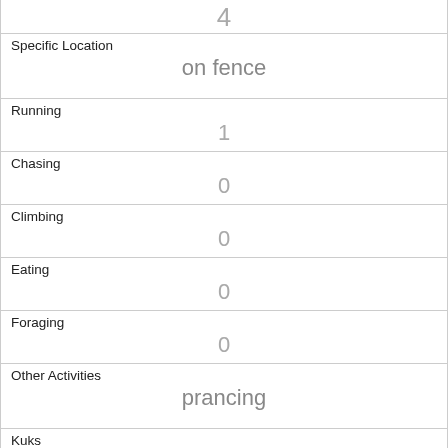| Field | Value |
| --- | --- |
|  | 4 |
| Specific Location | on fence |
| Running | 1 |
| Chasing | 0 |
| Climbing | 0 |
| Eating | 0 |
| Foraging | 0 |
| Other Activities | prancing |
| Kuks | 0 |
| Quaas | 0 |
| Moans | 0 |